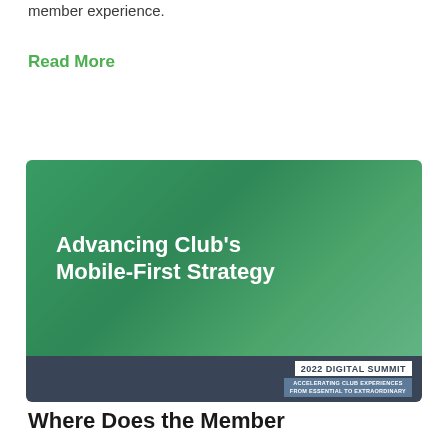member experience.
Read More
[Figure (illustration): Promotional slide image for '2022 Digital Summit – Accelerating Club Experiences From Essential to Extraordinary' with green background and title 'Advancing Club's Mobile-First Strategy' in white bold text, dark navy bar at bottom with '2022 DIGITAL SUMMIT' badge.]
Where Does the Member